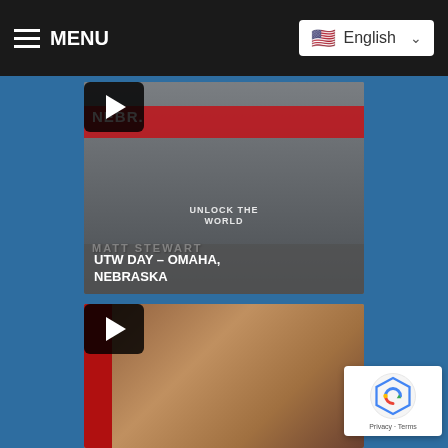MENU | English
[Figure (screenshot): Video thumbnail of Matt Stewart outdoors with a red Nebraska banner, wearing a black shirt with text 'Unlock the World'. A play button is overlaid in the center. Caption overlay reads: MATT STEWART / UTW DAY – OMAHA, NEBRASKA]
UTW DAY – OMAHA, NEBRASKA
[Figure (screenshot): Video thumbnail of a woman with curly hair against a reddish background. A play button is overlaid in the center.]